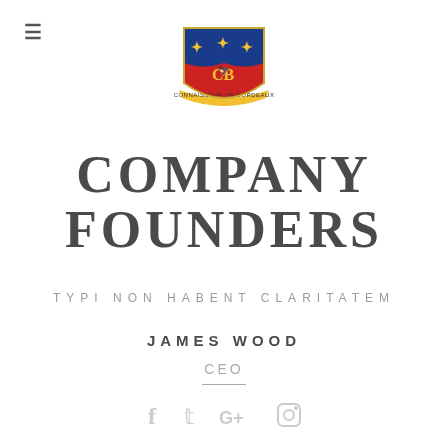[Figure (logo): Heraldic shield/crest logo with red, blue and gold colors, featuring letters C and B, with a scroll banner at the bottom reading 'Connaisseur de Bordeaux']
COMPANY FOUNDERS
TYPI NON HABENT CLARITATEM
JAMES WOOD
CEO
[Figure (illustration): Social media icons: Facebook, Twitter, Google+, Instagram]